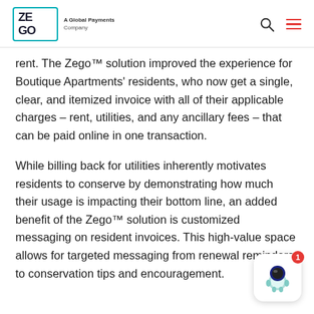ZEGO A Global Payments Company
rent. The Zego™ solution improved the experience for Boutique Apartments' residents, who now get a single, clear, and itemized invoice with all of their applicable charges – rent, utilities, and any ancillary fees – that can be paid online in one transaction.
While billing back for utilities inherently motivates residents to conserve by demonstrating how much their usage is impacting their bottom line, an added benefit of the Zego™ solution is customized messaging on resident invoices. This high-value space allows for targeted messaging from renewal reminders to conservation tips and encouragement.
[Figure (illustration): Chat widget with astronaut mascot and notification badge showing 1]